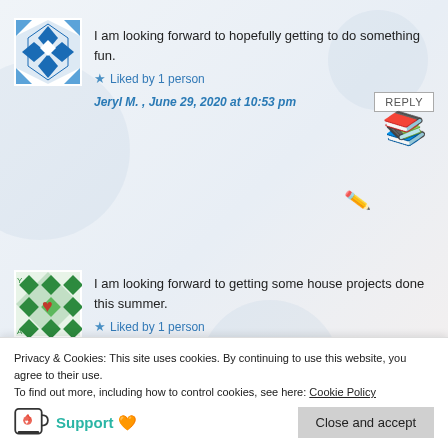[Figure (illustration): Blue geometric avatar icon for first commenter]
I am looking forward to hopefully getting to do something fun.
★ Liked by 1 person
Jeryl M. , June 29, 2020 at 10:53 pm
[Figure (illustration): Books emoji decoration]
[Figure (illustration): Pencil emoji decoration]
[Figure (illustration): Green geometric avatar icon for second commenter]
I am looking forward to getting some house projects done this summer.
★ Liked by 1 person
AEKZ2 , June 30, 2020 at 9:08 pm
Privacy & Cookies: This site uses cookies. By continuing to use this website, you agree to their use.
To find out more, including how to control cookies, see here: Cookie Policy
Support 🧡  Close and accept